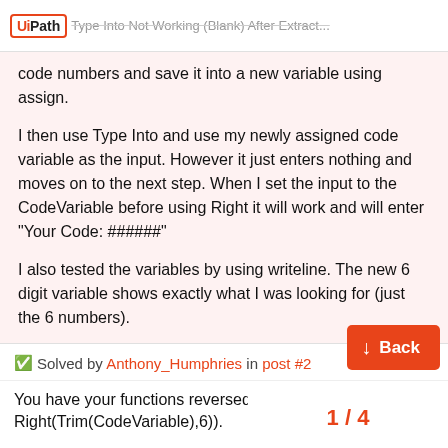UiPath | Type Into Not Working (Blank) After Extract...
code numbers and save it into a new variable using assign.
I then use Type Into and use my newly assigned code variable as the input. However it just enters nothing and moves on to the next step. When I set the input to the CodeVariable before using Right it will work and will enter "Your Code: ######"
I also tested the variables by using writeline. The new 6 digit variable shows exactly what I was looking for (just the 6 numbers).
Anybody have any idea why type into stops working once I use Right() and create a new variable for it to input? I see writeline works fine and there’s no error.
✅ Solved by Anthony_Humphries in post #2
You have your functions reversed. It s... Right(Trim(CodeVariable),6)).